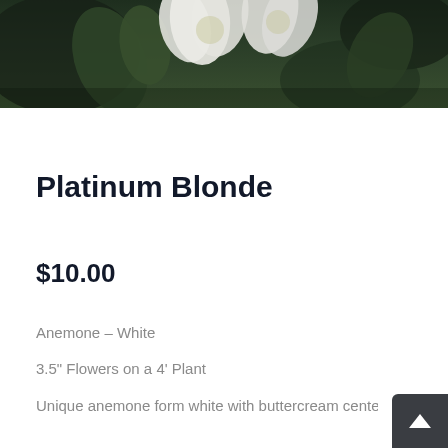[Figure (photo): Close-up photo of white anemone flowers with green foliage in the background, cropped at the top of the page]
Platinum Blonde
$10.00
Anemone – White
3.5" Flowers on a 4' Plant
Unique anemone form white with buttercream center flo